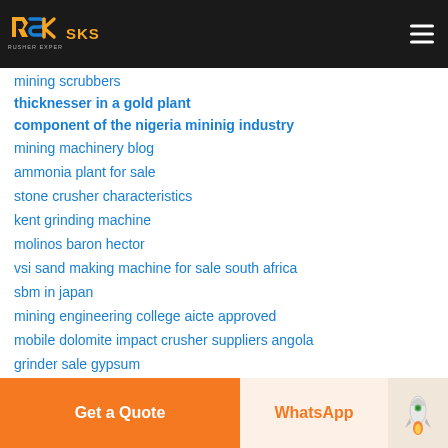SKS Crusher Expert - Navigation bar with logo and menu
mining scrubbers
thicknesser in a gold plant
component of the nigeria mininig industry
mining machinery blog
ammonia plant for sale
stone crusher characteristics
kent grinding machine
molinos baron hector
vsi sand making machine for sale south africa
sbm in japan
mining engineering college aicte approved
mobile dolomite impact crusher suppliers angola
grinder sale gypsum
grinding tools and equipment
grind low для nokia
Get a Quote | WhatsApp